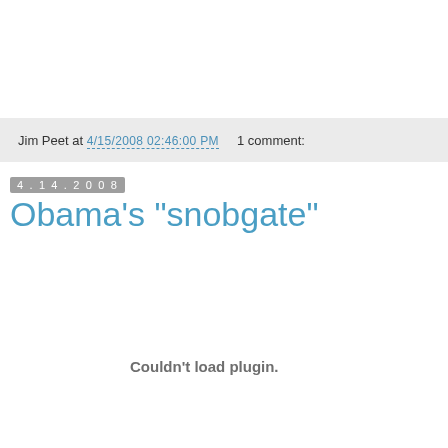Jim Peet at 4/15/2008 02:46:00 PM    1 comment:
4.14.2008
Obama's "snobgate"
Couldn't load plugin.